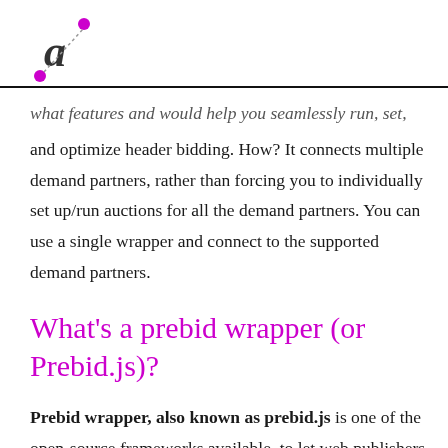what features and would help you seamlessly run, set, and optimize header bidding. How? It connects multiple demand partners, rather than forcing you to individually set up/run auctions for all the demand partners. You can use a single wrapper and connect to the supported demand partners.
What's a prebid wrapper (or Prebid.js)?
Prebid wrapper, also known as prebid.js is one of the open-source frameworks available, to let web publishers